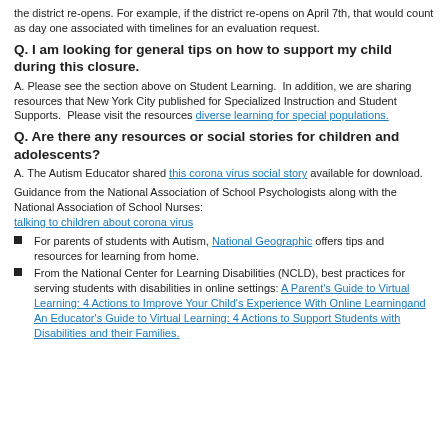the district re-opens. For example, if the district re-opens on April 7th, that would count as day one associated with timelines for an evaluation request.
Q. I am looking for general tips on how to support my child during this closure.
A. Please see the section above on Student Learning. In addition, we are sharing resources that New York City published for Specialized Instruction and Student Supports. Please visit the resources diverse learning for special populations.
Q. Are there any resources or social stories for children and adolescents?
A. The Autism Educator shared this corona virus social story available for download.
Guidance from the National Association of School Psychologists along with the National Association of School Nurses:
talking to children about corona virus
For parents of students with Autism, National Geographic offers tips and resources for learning from home.
From the National Center for Learning Disabilities (NCLD), best practices for serving students with disabilities in online settings: A Parent's Guide to Virtual Learning: 4 Actions to Improve Your Child's Experience With Online Learningand An Educator's Guide to Virtual Learning: 4 Actions to Support Students with Disabilities and their Families.